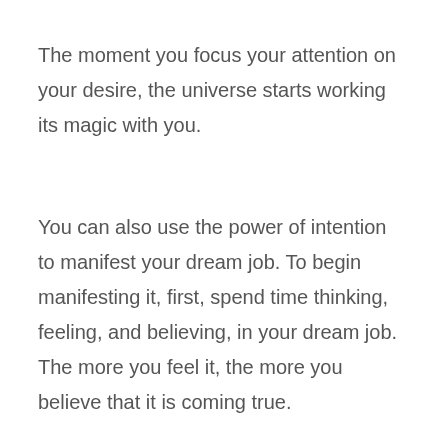The moment you focus your attention on your desire, the universe starts working its magic with you.
You can also use the power of intention to manifest your dream job. To begin manifesting it, first, spend time thinking, feeling, and believing, in your dream job. The more you feel it, the more you believe that it is coming true.